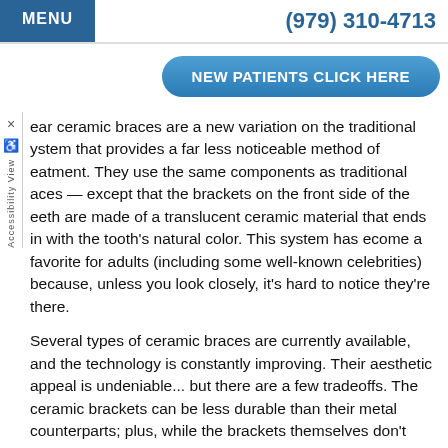MENU   (979) 310-4713
NEW PATIENTS CLICK HERE
Clear ceramic braces are a new variation on the traditional system that provides a far less noticeable method of treatment. They use the same components as traditional braces — except that the brackets on the front side of the teeth are made of a translucent ceramic material that blends in with the tooth's natural color. This system has become a favorite for adults (including some well-known celebrities) because, unless you look closely, it's hard to notice they're there.
Several types of ceramic braces are currently available, and the technology is constantly improving. Their aesthetic appeal is undeniable... but there are a few tradeoffs. The ceramic brackets can be less durable than their metal counterparts; plus, while the brackets themselves don't stain, the elastic bands that attach them to the archwire do (however, these are generally changed each month.) Ceramic braces also cost more than metal —